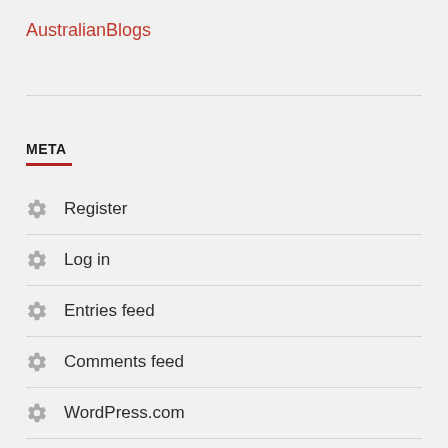AustralianBlogs
META
Register
Log in
Entries feed
Comments feed
WordPress.com